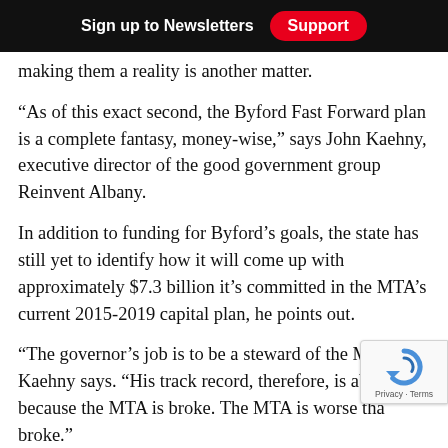Sign up to Newsletters  Support
making them a reality is another matter.
“As of this exact second, the Byford Fast Forward plan is a complete fantasy, money-wise,” says John Kaehny, executive director of the good government group Reinvent Albany.
In addition to funding for Byford’s goals, the state has still yet to identify how it will come up with approximately $7.3 billion it’s committed in the MTA’s current 2015-2019 capital plan, he points out.
“The governor’s job is to be a steward of the MTA,” Kaehny says. “His track record, therefore, is aby… because the MTA is broke. The MTA is worse tha… broke.”